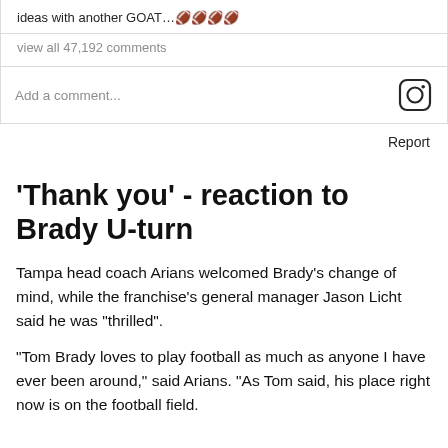ideas with another GOAT…🏈🏈🏈🏈
view all 47,192 comments
Add a comment...
Report
'Thank you' - reaction to Brady U-turn
Tampa head coach Arians welcomed Brady's change of mind, while the franchise's general manager Jason Licht said he was "thrilled".
"Tom Brady loves to play football as much as anyone I have ever been around," said Arians. "As Tom said, his place right now is on the football field.